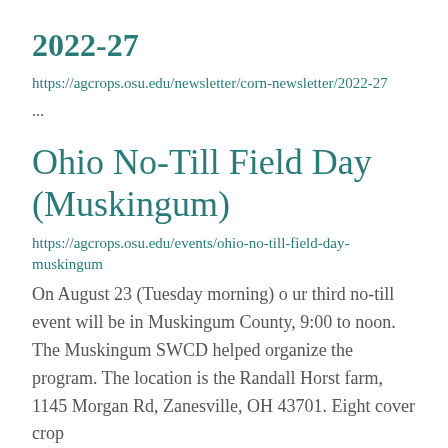2022-27
https://agcrops.osu.edu/newsletter/corn-newsletter/2022-27
...
Ohio No-Till Field Day (Muskingum)
https://agcrops.osu.edu/events/ohio-no-till-field-day-muskingum
On August 23 (Tuesday morning) o ur third no-till event will be in Muskingum County, 9:00 to noon. The Muskingum SWCD helped organize the program. The location is the Randall Horst farm, 1145 Morgan Rd, Zanesville, OH 43701. Eight cover crop